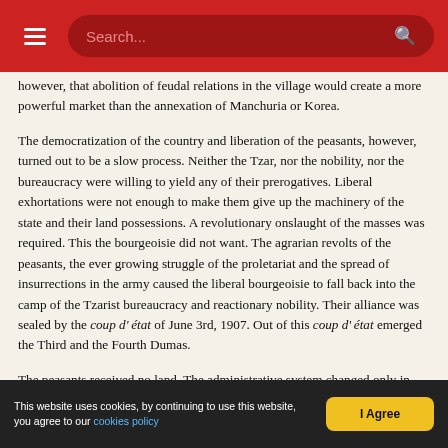Search...
however, that abolition of feudal relations in the village would create a more powerful market than the annexation of Manchuria or Korea.
The democratization of the country and liberation of the peasants, however, turned out to be a slow process. Neither the Tzar, nor the nobility, nor the bureaucracy were willing to yield any of their prerogatives. Liberal exhortations were not enough to make them give up the machinery of the state and their land possessions. A revolutionary onslaught of the masses was required. This the bourgeoisie did not want. The agrarian revolts of the peasants, the ever growing struggle of the proletariat and the spread of insurrections in the army caused the liberal bourgeoisie to fall back into the camp of the Tzarist bureaucracy and reactionary nobility. Their alliance was sealed by the coup d' état of June 3rd, 1907. Out of this coup d' état emerged the Third and the Fourth Dumas.
The peasants received no land. The administrative system changed only in name, not m substance. The development of an internal market consisting of prosperous farmers, after the American fashion, did not take place. The
This website uses cookies, by continuing to use this website, you agree to our cookies policy